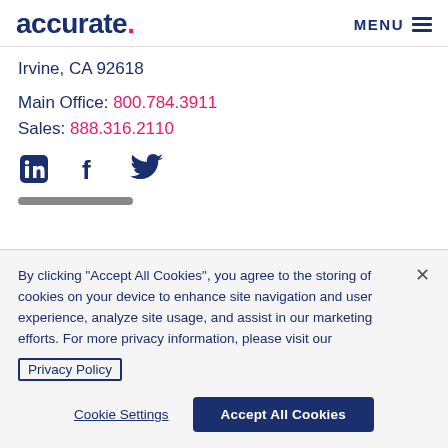accurate. MENU
Irvine, CA 92618
Main Office: 800.784.3911
Sales: 888.316.2110
[Figure (other): Social media icons: LinkedIn, Facebook, Twitter in dark blue]
By clicking "Accept All Cookies", you agree to the storing of cookies on your device to enhance site navigation and user experience, analyze site usage, and assist in our marketing efforts. For more privacy information, please visit our Privacy Policy
Cookie Settings   Accept All Cookies